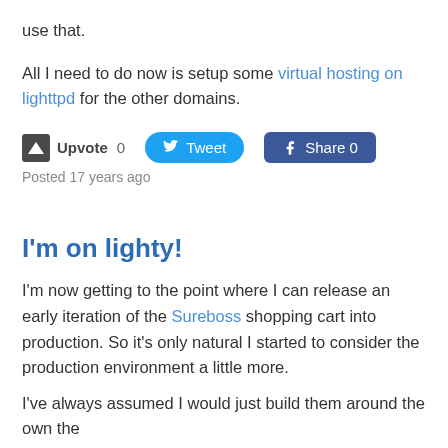use that.
All I need to do now is setup some virtual hosting on lighttpd for the other domains.
[Figure (other): Social sharing buttons row: Upvote 0, Tweet button, Share 0 button]
Posted 17 years ago
I'm on lighty!
I'm now getting to the point where I can release an early iteration of the Sureboss shopping cart into production. So it's only natural I started to consider the production environment a little more.
I've always assumed I would just build them around the own the